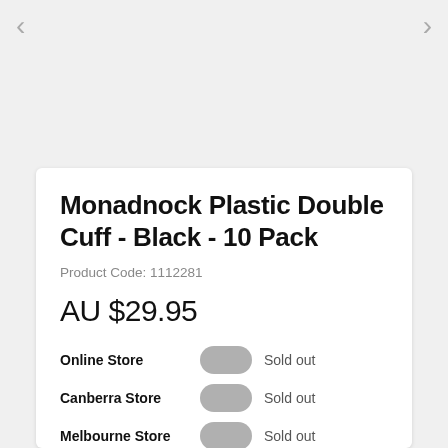[Figure (screenshot): Top navigation area with left and right chevron arrows on a light gray background, part of a product image carousel]
Monadnock Plastic Double Cuff - Black - 10 Pack
Product Code: 1112281
AU $29.95
Online Store   Sold out
Canberra Store   Sold out
Melbourne Store   Sold out